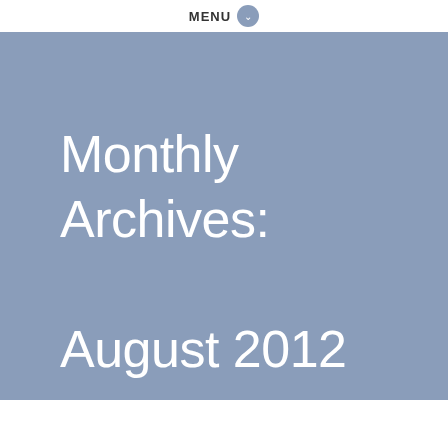MENU
Monthly Archives: August 2012